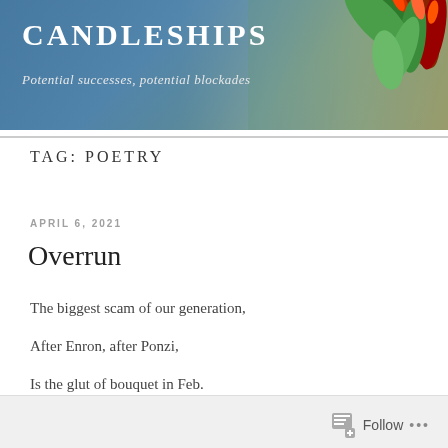CANDLESHIPS
Potential successes, potential blockades
TAG: POETRY
APRIL 6, 2021
Overrun
The biggest scam of our generation,
After Enron, after Ponzi,
Is the glut of bouquet in Feb.
Follow